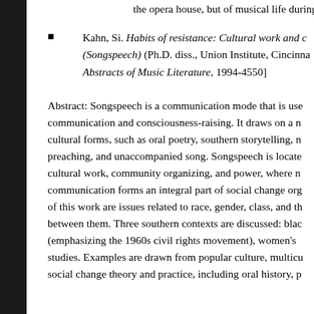the opera house, but of musical life during those first Pero
Kahn, Si. Habits of resistance: Cultural work and c… (Songspeech) (Ph.D. diss., Union Institute, Cincinna… Abstracts of Music Literature, 1994-4550]
Abstract: Songspeech is a communication mode that is use… communication and consciousness-raising. It draws on a n… cultural forms, such as oral poetry, southern storytelling, n… preaching, and unaccompanied song. Songspeech is locate… cultural work, community organizing, and power, where n… communication forms an integral part of social change org… of this work are issues related to race, gender, class, and th… between them. Three southern contexts are discussed: blac… (emphasizing the 1960s civil rights movement), women's… studies. Examples are drawn from popular culture, multicu… social change theory and practice, including oral history, p…